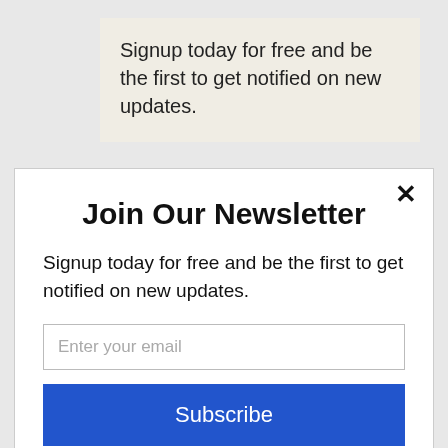Signup today for free and be the first to get notified on new updates.
Join Our Newsletter
Signup today for free and be the first to get notified on new updates.
Enter your email
Subscribe
powered by MailMunch